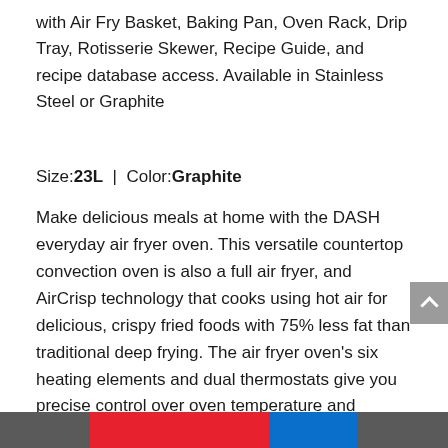with Air Fry Basket, Baking Pan, Oven Rack, Drip Tray, Rotisserie Skewer, Recipe Guide, and recipe database access. Available in Stainless Steel or Graphite
Size:23L | Color:Graphite
Make delicious meals at home with the DASH everyday air fryer oven. This versatile countertop convection oven is also a full air fryer, and AirCrisp technology that cooks using hot air for delicious, crispy fried foods with 75% less fat than traditional deep frying. The air fryer oven's six heating elements and dual thermostats give you precise control over oven temperature and provide consistent cooking. The 23L Capacity is generous enough to cook a whole Rotisserie